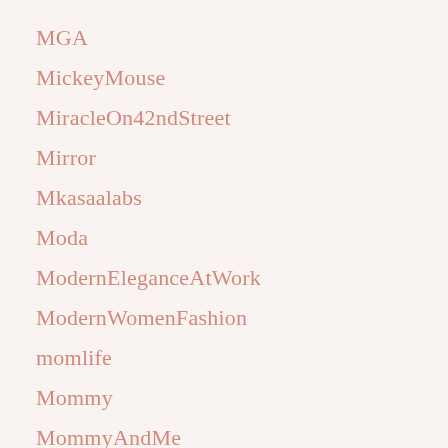MGA
MickeyMouse
MiracleOn42ndStreet
Mirror
Mkasaalabs
Moda
ModernEleganceAtWork
ModernWomenFashion
momlife
Mommy
MommyAndMe
MommyMeTwinning
Momofthree
MomOutfits